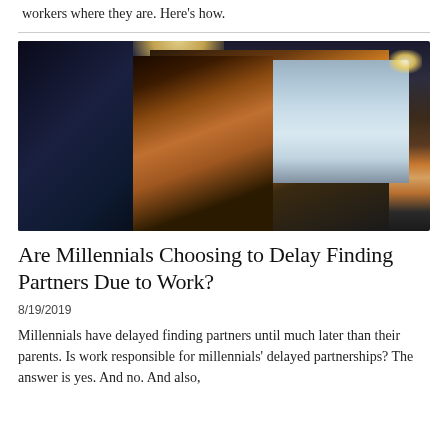workers where they are. Here's how.
[Figure (photo): A Black woman sitting at a desk working late at night on a large desktop computer monitor, in a dimly lit office environment with warm lamp light.]
Are Millennials Choosing to Delay Finding Partners Due to Work?
8/19/2019
Millennials have delayed finding partners until much later than their parents. Is work responsible for millennials' delayed partnerships? The answer is yes. And no. And also,